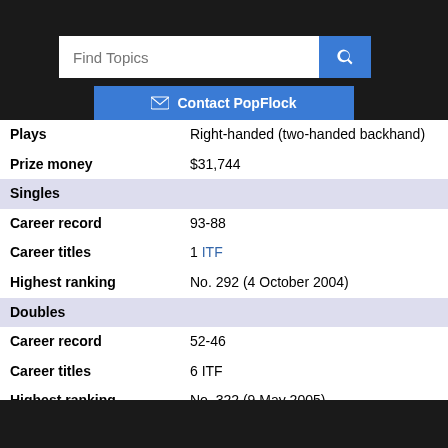| Plays | Right-handed (two-handed backhand) |
| Prize money | $31,744 |
| Singles |  |
| Career record | 93-88 |
| Career titles | 1 ITF |
| Highest ranking | No. 292 (4 October 2004) |
| Doubles |  |
| Career record | 52-46 |
| Career titles | 6 ITF |
| Highest ranking | No. 322 (9 May 2005) |
Núria Roig-Tost (born 19 April 1984) is a Spanish former professional tennis player.[1]
A right-handed player from Reus, Roig reached a best singles ranking on the professional tour of 292 in the world. She